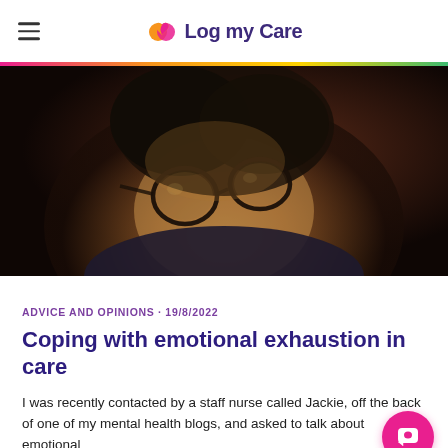Log my Care
[Figure (photo): Close-up photo of a person with dark curly hair wearing round black glasses, looking downward in dim moody lighting with dark background.]
ADVICE AND OPINIONS · 19/8/2022
Coping with emotional exhaustion in care
I was recently contacted by a staff nurse called Jackie, off the back of one of my mental health blogs, and asked to talk about emotional